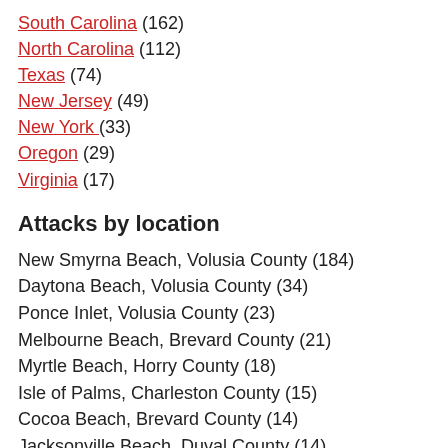South Carolina (162)
North Carolina (112)
Texas (74)
New Jersey (49)
New York (33)
Oregon (29)
Virginia (17)
Attacks by location
New Smyrna Beach, Volusia County (184)
Daytona Beach, Volusia County (34)
Ponce Inlet, Volusia County (23)
Melbourne Beach, Brevard County (21)
Myrtle Beach, Horry County (18)
Isle of Palms, Charleston County (15)
Cocoa Beach, Brevard County (14)
Jacksonville Beach, Duval County (14)
Ponce Inlet, New Smyrna Beach, Volusia County (13)